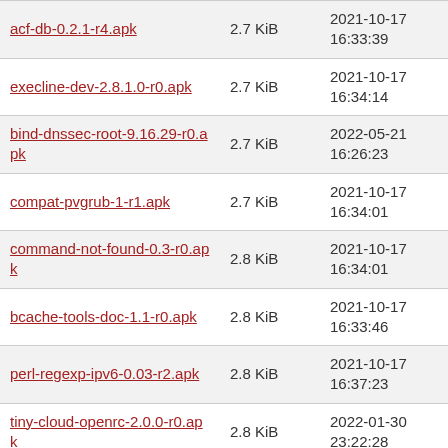| Name | Size | Date |
| --- | --- | --- |
| acf-db-0.2.1-r4.apk | 2.7 KiB | 2021-10-17 16:33:39 |
| execline-dev-2.8.1.0-r0.apk | 2.7 KiB | 2021-10-17 16:34:14 |
| bind-dnssec-root-9.16.29-r0.apk | 2.7 KiB | 2022-05-21 16:26:23 |
| compat-pvgrub-1-r1.apk | 2.7 KiB | 2021-10-17 16:34:01 |
| command-not-found-0.3-r0.apk | 2.8 KiB | 2021-10-17 16:34:01 |
| bcache-tools-doc-1.1-r0.apk | 2.8 KiB | 2021-10-17 16:33:46 |
| perl-regexp-ipv6-0.03-r2.apk | 2.8 KiB | 2021-10-17 16:37:23 |
| tiny-cloud-openrc-2.0.0-r0.apk | 2.8 KiB | 2022-01-30 23:22:28 |
| linenoise-dev-1.0-r1.apk | 2.8 KiB | 2021-10-17 16:35:51 |
| audit-openrc-3.0.6-r0.apk | 2.8 KiB | 2021-11-22 06:31:28 |
| acf-lvm2-0.7.0-r5.apk | 2.8 KiB | 2021-10-17 16:33:39 |